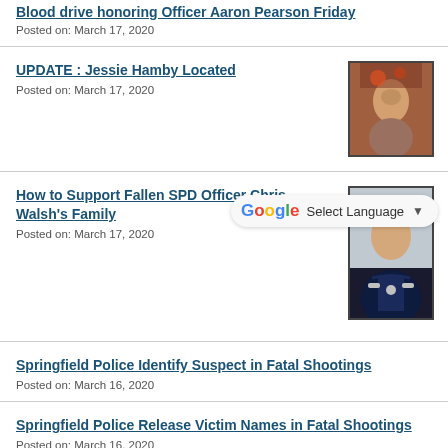Blood drive honoring Officer Aaron Pearson Friday
Posted on: March 17, 2020
UPDATE : Jessie Hamby Located
Posted on: March 17, 2020
[Figure (photo): Portrait photo of an elderly person with flowers in background]
How to Support Fallen SPD Officer Chris Walsh's Family
Posted on: March 17, 2020
[Figure (photo): Portrait photo of a police officer in uniform, smiling]
Springfield Police Identify Suspect in Fatal Shootings
Posted on: March 16, 2020
Springfield Police Release Victim Names in Fatal Shootings
Posted on: March 16, 2020